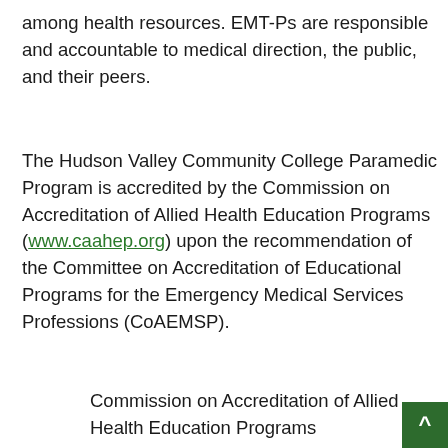among health resources. EMT-Ps are responsible and accountable to medical direction, the public, and their peers.
The Hudson Valley Community College Paramedic Program is accredited by the Commission on Accreditation of Allied Health Education Programs (www.caahep.org) upon the recommendation of the Committee on Accreditation of Educational Programs for the Emergency Medical Services Professions (CoAEMSP).
Commission on Accreditation of Allied Health Education Programs